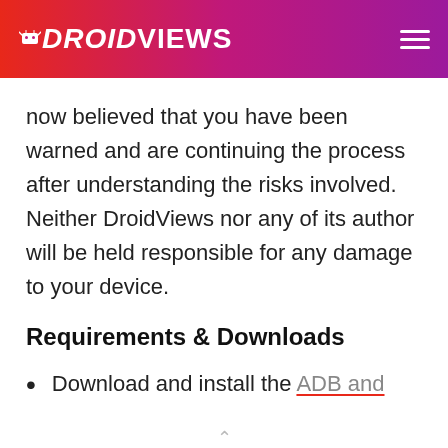DroidViews
now believed that you have been warned and are continuing the process after understanding the risks involved. Neither DroidViews nor any of its author will be held responsible for any damage to your device.
Requirements & Downloads
Download and install the ADB and